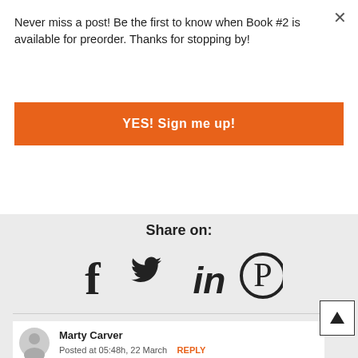Never miss a post! Be the first to know when Book #2 is available for preorder. Thanks for stopping by!
YES! Sign me up!
Share on:
[Figure (infographic): Social media share icons: Facebook, Twitter, LinkedIn, Pinterest]
Marty Carver
Posted at 05:48h, 22 March  REPLY
Amazing Valli. Thank you for sharing such a precious